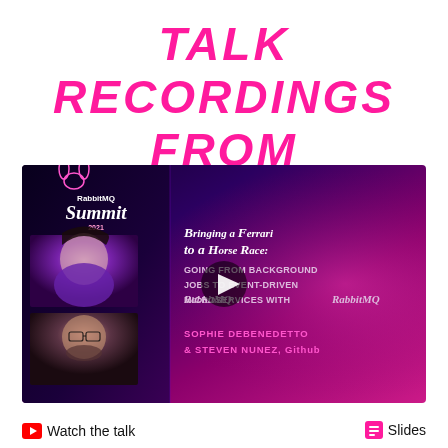TALK RECORDINGS FROM 2021
[Figure (screenshot): RabbitMQ Summit 2021 video thumbnail showing two speaker photos on the left, a play button overlay in the center, and talk title 'Bringing a Ferrari to a Horse Race: Going from Background Jobs to Event-Driven Microservices with RabbitMQ' by Sophie DeBenedetto & Steven Nunez, Github on the right]
Watch the talk
Slides